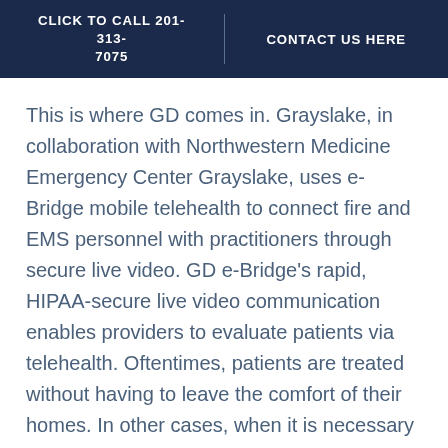CLICK TO CALL 201-313-7075 | CONTACT US HERE
This is where GD comes in. Grayslake, in collaboration with Northwestern Medicine Emergency Center Grayslake, uses e-Bridge mobile telehealth to connect fire and EMS personnel with practitioners through secure live video. GD e-Bridge's rapid, HIPAA-secure live video communication enables providers to evaluate patients via telehealth. Oftentimes, patients are treated without having to leave the comfort of their homes. In other cases, when it is necessary to be transported to the emergency room, speaking with a practitioner through live video first may give a reluctant patient the